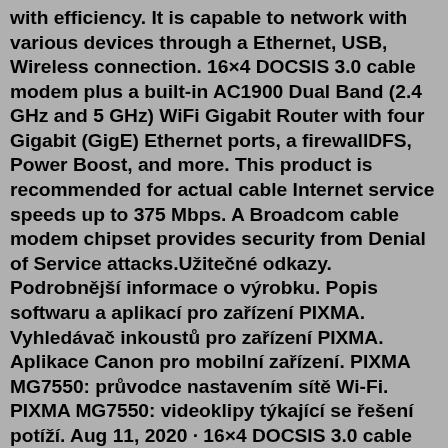with efficiency. It is capable to network with various devices through a Ethernet, USB, Wireless connection. 16×4 DOCSIS 3.0 cable modem plus a built-in AC1900 Dual Band (2.4 GHz and 5 GHz) WiFi Gigabit Router with four Gigabit (GigE) Ethernet ports, a firewallDFS, Power Boost, and more. This product is recommended for actual cable Internet service speeds up to 375 Mbps. A Broadcom cable modem chipset provides security from Denial of Service attacks.Užitečné odkazy. Podrobnější informace o výrobku. Popis softwaru a aplikací pro zařízení PIXMA. Vyhledávač inkoustů pro zařízení PIXMA. Aplikace Canon pro mobilní zařízení. PIXMA MG7550: průvodce nastavením sítě Wi-Fi. PIXMA MG7550: videoklipy týkající se řešení potíží. Aug 11, 2020 · 16×4 DOCSIS 3.0 cable modem plus a built-in AC1900 Dual Band (2.4 GHz and 5 GHz) WiFi Gigabit Router with four Gigabit (GigE) Ethernet ports, a firewallDFS, Power Boost, and more. This product is recommended for actual cable Internet service speeds up to 375 Mbps. A Broadcom cable modem chipset provides security from Denial of Service attacks.